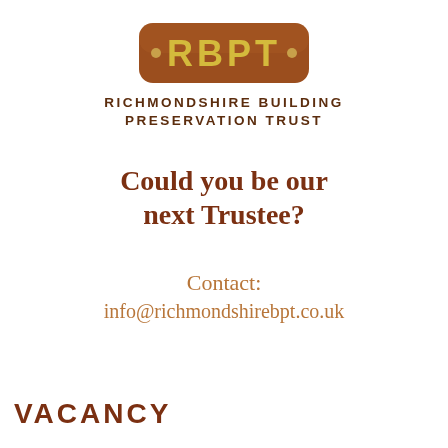[Figure (logo): RBPT logo — a rounded brown rectangular badge with yellow letters ·RBPT· on a terracotta background]
RICHMONDSHIRE BUILDING PRESERVATION TRUST
Could you be our next Trustee?
Contact:
info@richmondshirebpt.co.uk
VACANCY